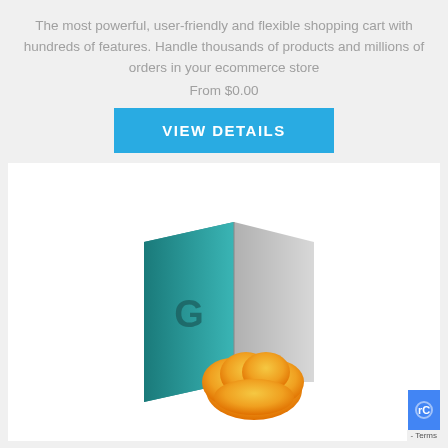The most powerful, user-friendly and flexible shopping cart with hundreds of features. Handle thousands of products and millions of orders in your ecommerce store
From $0.00
[Figure (other): A cyan/teal button with white text reading VIEW DETAILS]
[Figure (illustration): 3D illustration of an open book/folder with teal left panel showing a 'G' letter logo and gray right panel, with an orange cloud shape in front/below]
- Terms